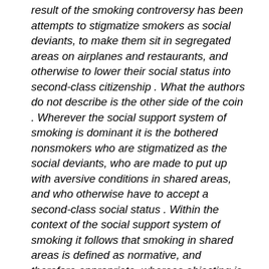result of the smoking controversy has been attempts to stigmatize smokers as social deviants, to make them sit in segregated areas on airplanes and restaurants, and otherwise to lower their social status into second-class citizenship . What the authors do not describe is the other side of the coin . Wherever the social support system of smoking is dominant it is the bothered nonsmokers who are stigmatized as the social deviants, who are made to put up with aversive conditions in shared areas, and who otherwise have to accept a second-class social status . Within the context of the social support system of smoking it follows that smoking in shared areas is defined as normative, and therefore appropriate, whereas objecting is